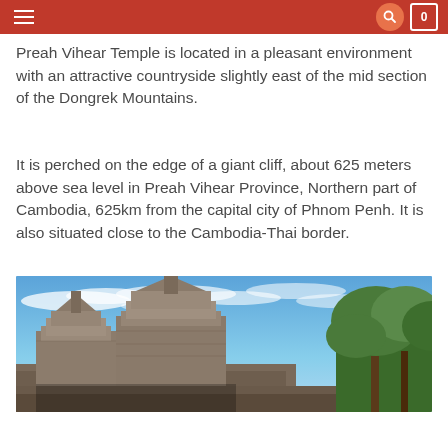navigation header with hamburger menu, search icon, and cart icon showing 0
Preah Vihear Temple is located in a pleasant environment with an attractive countryside slightly east of the mid section of the Dongrek Mountains.
It is perched on the edge of a giant cliff, about 625 meters above sea level in Preah Vihear Province, Northern part of Cambodia, 625km from the capital city of Phnom Penh. It is also situated close to the Cambodia-Thai border.
[Figure (photo): Panoramic photo of Preah Vihear Temple ruins with ancient stone towers against a blue sky with wispy clouds and green trees on the right side]